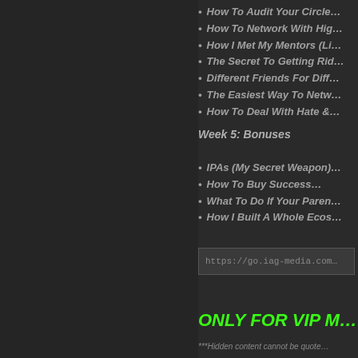How To Audit Your Circle…
How To Network With Hig…
How I Met My Mentors (Li…
The Secret To Getting Rid…
Different Friends For Diff…
The Easiest Way To Netw…
How To Deal With Hate &…
Week 5: Bonuses
IPAs (My Secret Weapon)…
How To Buy Success…
What To Do If Your Paren…
How I Built A Whole Ecos…
https://go.iag-media.com…
ONLY FOR VIP M…
***Hidden content cannot be quote…